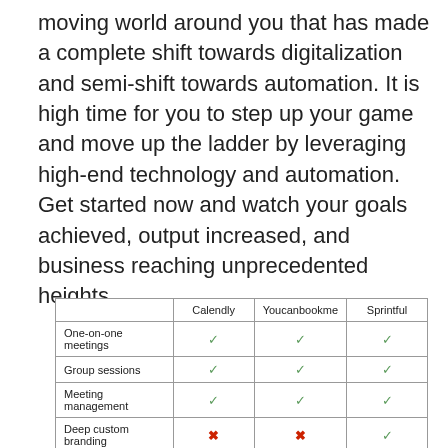moving world around you that has made a complete shift towards digitalization and semi-shift towards automation. It is high time for you to step up your game and move up the ladder by leveraging high-end technology and automation. Get started now and watch your goals achieved, output increased, and business reaching unprecedented heights.
|  | Calendly | Youcanbookme | Sprintful |
| --- | --- | --- | --- |
| One-on-one meetings | ✓ | ✓ | ✓ |
| Group sessions | ✓ | ✓ | ✓ |
| Meeting management | ✓ | ✓ | ✓ |
| Deep custom branding | ✗ | ✗ | ✓ |
| Custom domain | ✗ | ✗ | ✓ |